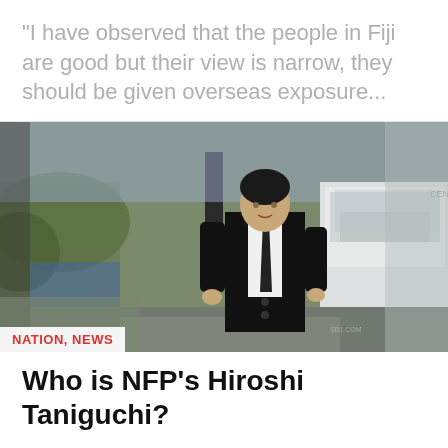“I have observed that the people in Fiji are good but their view is narrow, they should be given overseas exposure...
[Figure (photo): A man in a black suit and tie walking outdoors, with cars and trees in the background. The photo appears to be of Hiroshi Taniguchi.]
NATION, NEWS
Who is NFP’s Hiroshi Taniguchi?